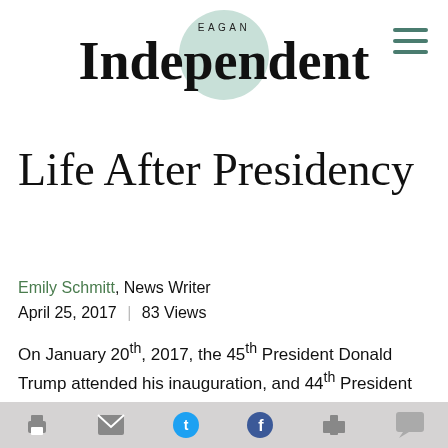EAGAN Independent
Life After Presidency
Emily Schmitt, News Writer
April 25, 2017  |  83 Views
On January 20th, 2017, the 45th President Donald Trump attended his inauguration, and 44th President Barack Obama, Michelle Obama, and their daughters Malia and Sasha moved out of the white house. Even here at Eagan High School, people have since been buzzing about Donald Trump and his political views and actions. But what about the former first family?